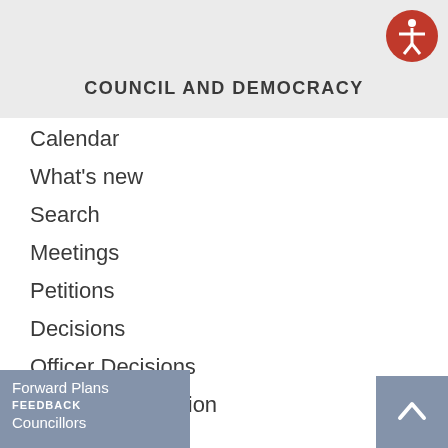COUNCIL AND DEMOCRACY
Calendar
What's new
Search
Meetings
Petitions
Decisions
Officer Decisions
Public Participation
Forward Plans
FEEDBACK
Councillors
[Figure (other): Accessibility icon - orange circle with white human figure with arms outstretched]
[Figure (other): Scroll to top button - blue-grey square with white upward chevron]